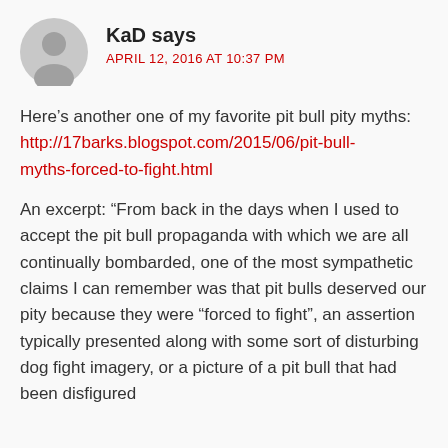[Figure (illustration): Gray circular avatar icon showing a generic person silhouette]
KaD says
APRIL 12, 2016 AT 10:37 PM
Here’s another one of my favorite pit bull pity myths:
http://17barks.blogspot.com/2015/06/pit-bull-myths-forced-to-fight.html
An excerpt: “From back in the days when I used to accept the pit bull propaganda with which we are all continually bombarded, one of the most sympathetic claims I can remember was that pit bulls deserved our pity because they were “forced to fight”, an assertion typically presented along with some sort of disturbing dog fight imagery, or a picture of a pit bull that had been disfigured